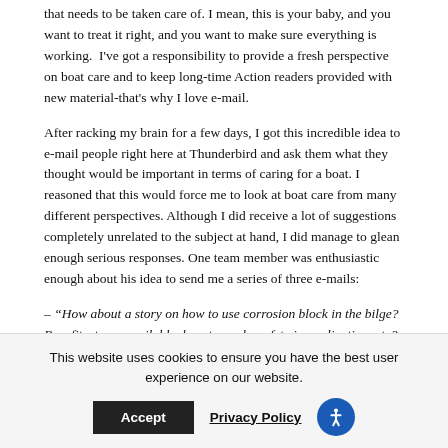that needs to be taken care of. I mean, this is your baby, and you want to treat it right, and you want to make sure everything is working.  I've got a responsibility to provide a fresh perspective on boat care and to keep long-time Action readers provided with new material-that's why I love e-mail.
After racking my brain for a few days, I got this incredible idea to e-mail people right here at Thunderbird and ask them what they thought would be important in terms of caring for a boat. I reasoned that this would force me to look at boat care from many different perspectives. Although I did receive a lot of suggestions completely unrelated to the subject at hand, I did manage to glean enough serious responses. One team member was enthusiastic enough about his idea to send me a series of three e-mails:
– “How about a story on how to use corrosion block in the bilge? Benefits, types available, how to apply, safety in application, etc? Thanks.”
This website uses cookies to ensure you have the best user experience on our website.